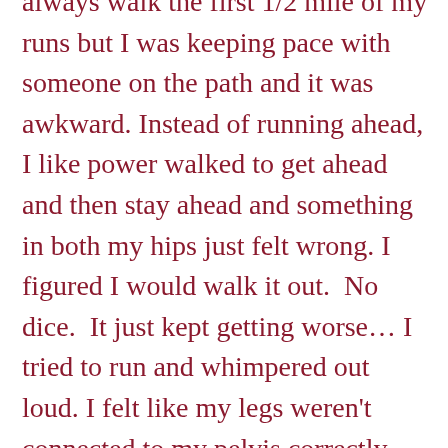always walk the first 1/2 mile of my runs but I was keeping pace with someone on the path and it was awkward. Instead of running ahead, I like power walked to get ahead and then stay ahead and something in both my hips just felt wrong. I figured I would walk it out.  No dice.  It just kept getting worse… I tried to run and whimpered out loud. I felt like my legs weren't connected to my pelvis correctly. What the hell? I thought about pushing through but this was straight up pain so I turned around and hobbled to my